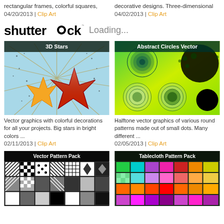rectangular frames, colorful squares,
04/20/2013 | Clip Art
decorative designs. Three-dimensional
04/02/2013 | Clip Art
[Figure (logo): Shutterstock logo with camera icon, followed by 'Loading...' text]
[Figure (illustration): 3D Stars - Vector graphics with colorful decorations, big stars in bright colors on light blue background with rays]
Vector graphics with colorful decorations for all your projects. Big stars in bright colors ...
02/11/2013 | Clip Art
[Figure (illustration): Abstract Circles Vector - Halftone vector graphics of various round patterns made out of small dots on green/yellow gradient background]
Halftone vector graphics of various round patterns made out of small dots. Many different ...
02/05/2013 | Clip Art
[Figure (illustration): Vector Pattern Pack - Black and white geometric pattern collection grid]
[Figure (illustration): Tablecloth Pattern Pack - Colorful tablecloth pattern collection grid]